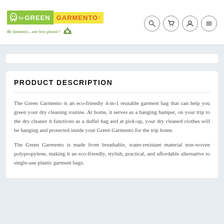The Green Garmento — Be fantastic...use less plastic!
PRODUCT DESCRIPTION
The Green Garmento is an eco-friendly 4-in-1 reusable garment bag that can help you green your dry cleaning routine. At home, it serves as a hanging hamper, on your trip to the dry cleaner it functions as a duffel bag and at pick-up, your dry cleaned clothes will be hanging and protected inside your Green Garmento for the trip home.
The Green Garmento is made from breathable, water-resistant material non-woven polypropylene, making it an eco-friendly, stylish, practical, and affordable alternative to single-use plastic garment bags.